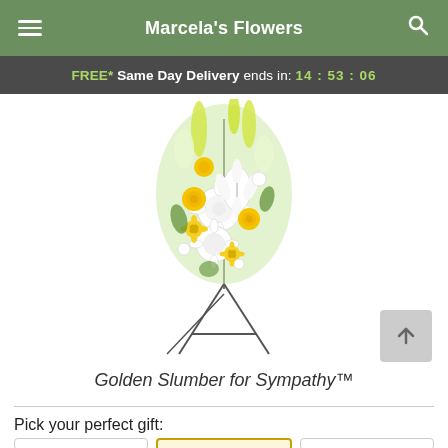Marcela's Flowers
FREE* Same Day Delivery ends in: 14:53:06
[Figure (photo): Yellow and white floral sympathy standing spray arrangement on a metal easel stand, featuring white lilies, white chrysanthemums, yellow roses, yellow daisies, and yellow snapdragons with green foliage.]
Golden Slumber for Sympathy™
Pick your perfect gift: